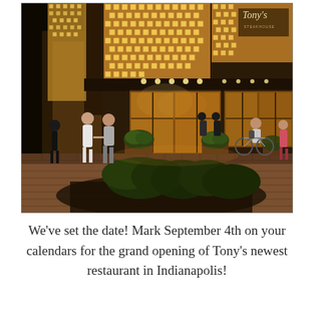[Figure (illustration): Architectural rendering of Tony's restaurant exterior at night. A modern building facade with decorative lattice-pattern glowing panels, warm amber lighting from the interior visible through large glass windows and entrance doors. People walking on a brick plaza with planters containing bushes. A cyclist and other pedestrians visible. The Tony's restaurant logo is visible on the upper right of the building.]
We've set the date! Mark September 4th on your calendars for the grand opening of Tony's newest restaurant in Indianapolis!